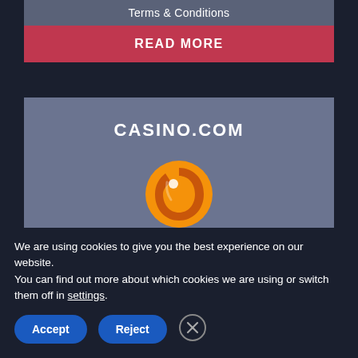Terms & Conditions
READ MORE
CASINO.COM
[Figure (logo): Casino.com orange circular logo with a stylized 'C' shape, followed by text 'casino.com' in dark and orange lettering]
We are using cookies to give you the best experience on our website.
You can find out more about which cookies we are using or switch them off in settings.
Accept
Reject